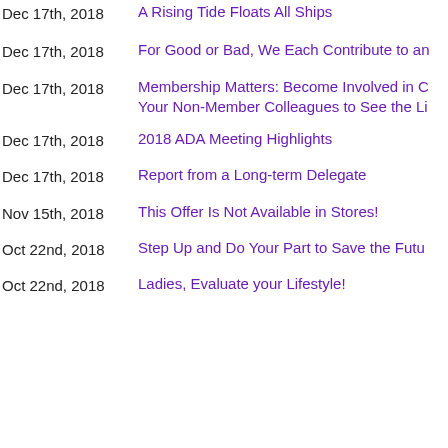Dec 17th, 2018 | A Rising Tide Floats All Ships
Dec 17th, 2018 | For Good or Bad, We Each Contribute to an
Dec 17th, 2018 | Membership Matters: Become Involved in C... Your Non-Member Colleagues to See the Li...
Dec 17th, 2018 | 2018 ADA Meeting Highlights
Dec 17th, 2018 | Report from a Long-term Delegate
Nov 15th, 2018 | This Offer Is Not Available in Stores!
Oct 22nd, 2018 | Step Up and Do Your Part to Save the Futu...
Oct 22nd, 2018 | Ladies, Evaluate your Lifestyle!